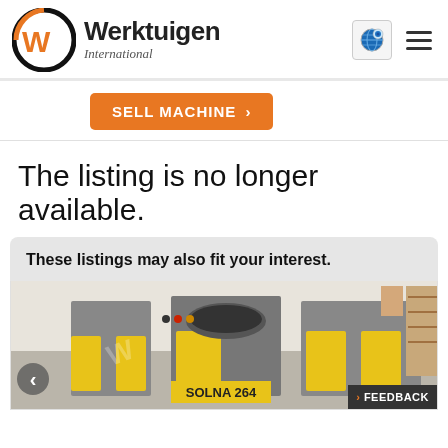[Figure (logo): Werktuigen International logo with orange W in circle and brand name]
SELL MACHINE >
The listing is no longer available.
These listings may also fit your interest.
[Figure (photo): Photo of a yellow and grey Solna 264 offset printing machine in a workshop]